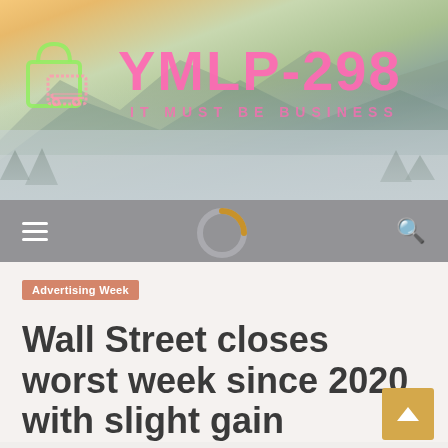[Figure (illustration): Website header banner for YMLP-298 blog with mountain landscape background, shopping bag/cart logo icon in green outline, site name YMLP-298 in large pink text, and tagline IT MUST BE BUSINESS in pink spaced letters]
[Figure (other): Navigation bar with hamburger menu icon on left, loading spinner in center, and search icon on right, all on gray background]
Advertising Week
Wall Street closes worst week since 2020 with slight gain